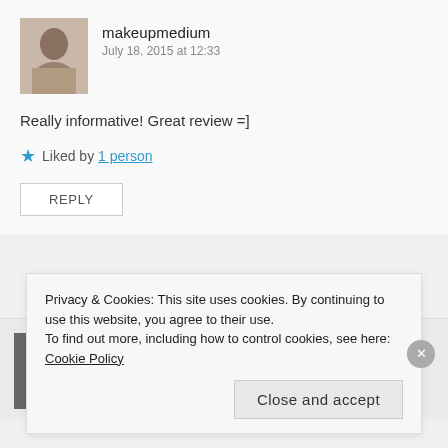makeupmedium
July 18, 2015 at 12:33
Really informative! Great review =]
Liked by 1 person
REPLY
vogueinfatuation
July 18, 2015 at 14:30
Privacy & Cookies: This site uses cookies. By continuing to use this website, you agree to their use. To find out more, including how to control cookies, see here: Cookie Policy
Close and accept